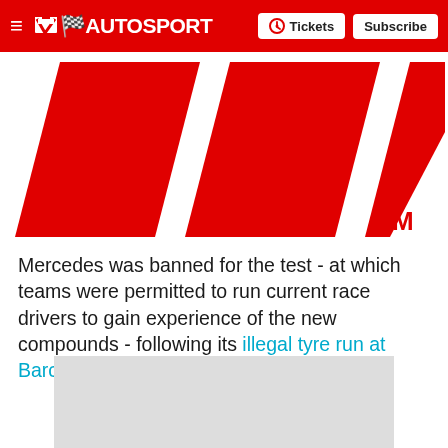≡ 🏁AUTOSPORT  Tickets  Subscribe
[Figure (logo): Formula 1 (F1) logo in red and white with TM mark on a white background]
Mercedes was banned for the test - at which teams were permitted to run current race drivers to gain experience of the new compounds - following its illegal tyre run at Barcelona.